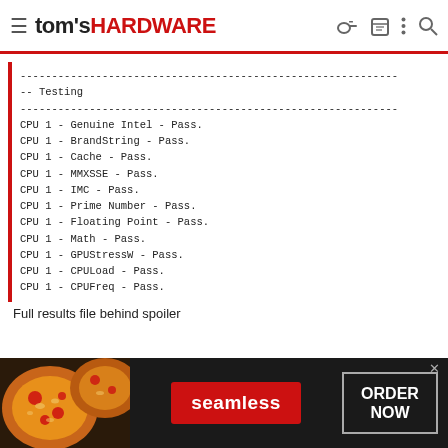tom's HARDWARE
------------------------------------------------------------
-- Testing
------------------------------------------------------------
CPU 1 - Genuine Intel - Pass.
CPU 1 - BrandString - Pass.
CPU 1 - Cache - Pass.
CPU 1 - MMXSSE - Pass.
CPU 1 - IMC - Pass.
CPU 1 - Prime Number - Pass.
CPU 1 - Floating Point - Pass.
CPU 1 - Math - Pass.
CPU 1 - GPUStressW - Pass.
CPU 1 - CPULoad - Pass.
CPU 1 - CPUFreq - Pass.
Full results file behind spoiler
[Figure (photo): Seamless food delivery advertisement banner with pizza image, Seamless red logo button, and ORDER NOW button on dark background]